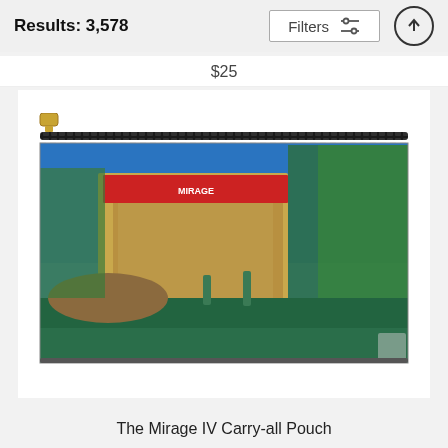Results: 3,578
$25
[Figure (photo): A carry-all pouch product featuring a photo of The Mirage hotel and casino in Las Vegas, Nevada, with lush palm trees, a lagoon in the foreground with green statues, and a bright blue sky.]
The Mirage IV Carry-all Pouch